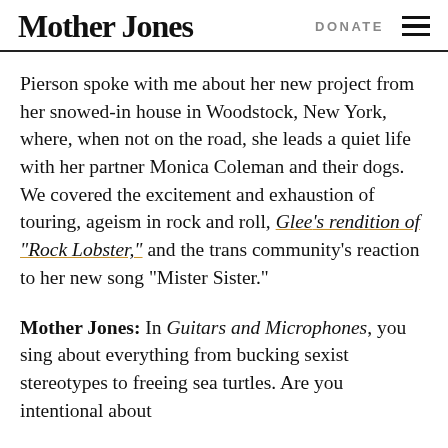Mother Jones | DONATE
Pierson spoke with me about her new project from her snowed-in house in Woodstock, New York, where, when not on the road, she leads a quiet life with her partner Monica Coleman and their dogs. We covered the excitement and exhaustion of touring, ageism in rock and roll, Glee’s rendition of “Rock Lobster,” and the trans community’s reaction to her new song “Mister Sister.”
Mother Jones: In Guitars and Microphones, you sing about everything from bucking sexist stereotypes to freeing sea turtles. Are you intentional about